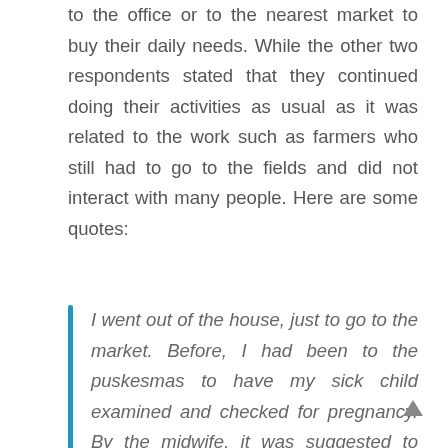to the office or to the nearest market to buy their daily needs. While the other two respondents stated that they continued doing their activities as usual as it was related to the work such as farmers who still had to go to the fields and did not interact with many people. Here are some quotes:
I went out of the house, just to go to the market. Before, I had been to the puskesmas to have my sick child examined and checked for pregnancy. By the midwife, it was suggested to temporarily stop coming to the puskesmas, because it said the conditions were not safe for children and pregnant